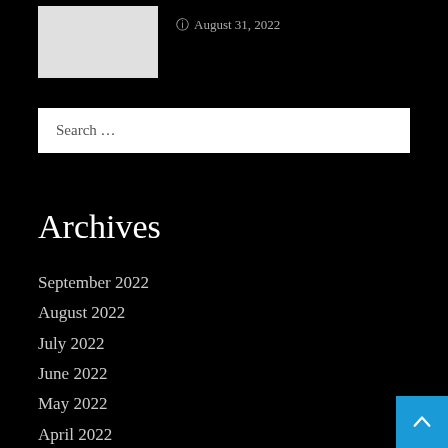[Figure (photo): Light grey placeholder thumbnail image in upper left]
August 31, 2022
Search ...
Archives
September 2022
August 2022
July 2022
June 2022
May 2022
April 2022
March 2022
February 2022